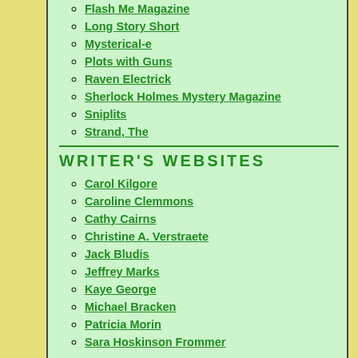Flash Me Magazine
Long Story Short
Mysterical-e
Plots with Guns
Raven Electrick
Sherlock Holmes Mystery Magazine
Sniplits
Strand, The
WRITER'S WEBSITES
Carol Kilgore
Caroline Clemmons
Cathy Cairns
Christine A. Verstraete
Jack Bludis
Jeffrey Marks
Kaye George
Michael Bracken
Patricia Morin
Sara Hoskinson Frommer